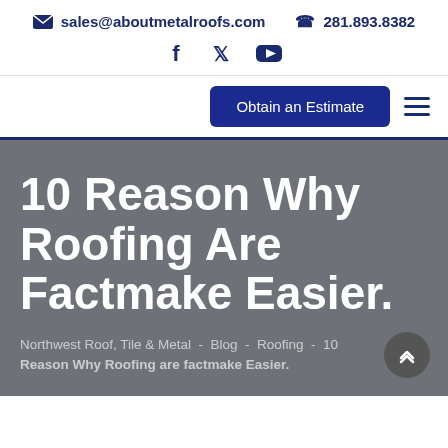sales@aboutmetalroofs.com  281.893.8382
[Figure (other): Social media icons: Facebook, Twitter, YouTube in dark blue]
[Figure (other): Navigation bar with 'Obtain an Estimate' blue button and hamburger menu icon]
10 Reason Why Roofing Are Factmake Easier.
Northwest Roof, Tile & Metal  -  Blog  -  Roofing  -  10 Reason Why Roofing are factmake Easier.